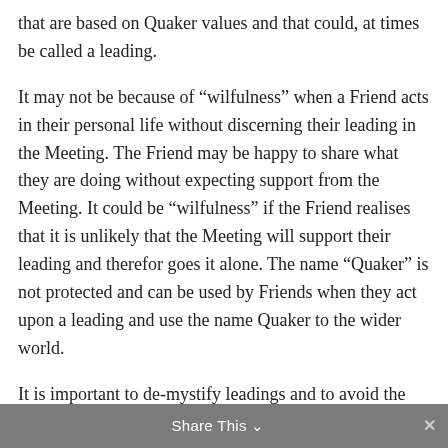that are based on Quaker values and that could, at times be called a leading.
It may not be because of “wilfulness” when a Friend acts in their personal life without discerning their leading in the Meeting. The Friend may be happy to share what they are doing without expecting support from the Meeting. It could be “wilfulness” if the Friend realises that it is unlikely that the Meeting will support their leading and therefor goes it alone. The name “Quaker” is not protected and can be used by Friends when they act upon a leading and use the name Quaker to the wider world.
It is important to de-mystify leadings and to avoid the difficulties that pour from leadings having a status that should not be analysed or contested. It can seem inappropriate to ask questions about “who, what, where and how much will this cost” when a Friend, or a group of Friends give an articulate and authoritative
Share This